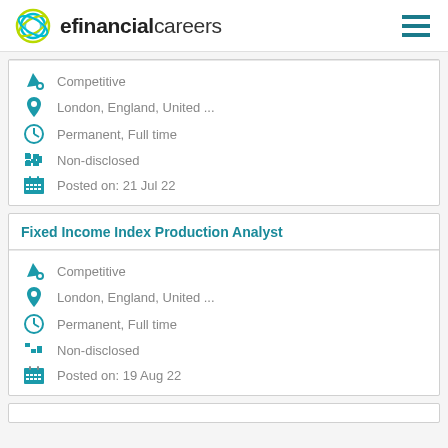efinancialcareers
Competitive
London, England, United ...
Permanent, Full time
Non-disclosed
Posted on: 21 Jul 22
Fixed Income Index Production Analyst
Competitive
London, England, United ...
Permanent, Full time
Non-disclosed
Posted on: 19 Aug 22